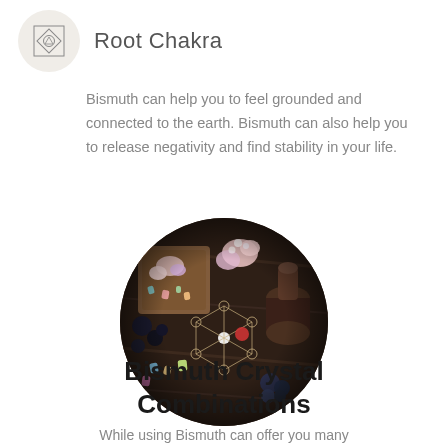[Figure (logo): Chakra geometric symbol icon in a circle with beige background]
Root Chakra
Bismuth can help you to feel grounded and connected to the earth. Bismuth can also help you to release negativity and find stability in your life.
[Figure (photo): Circular photo of crystals and gemstones arranged on a dark wooden table with a geometric crystal grid pattern]
Bismuth Crystal Combinations
While using Bismuth can offer you many